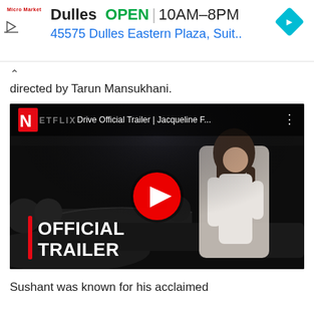[Figure (screenshot): Advertisement banner for Micro Market (Dulles location): OPEN 10AM-8PM, 45575 Dulles Eastern Plaza, Suit., with a blue diamond navigation icon]
directed by Tarun Mansukhani.
[Figure (screenshot): YouTube/Netflix embedded video thumbnail: Drive Official Trailer | Jacqueline F... with OFFICIAL TRAILER text overlay and YouTube play button. Features a woman in white outfit leaning on a black car.]
Sushant was known for his acclaimed